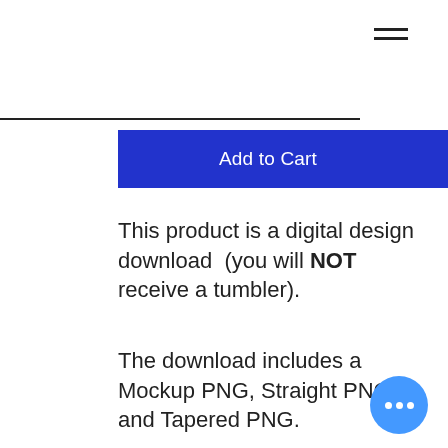[Figure (other): Hamburger menu icon (three horizontal lines) in top right corner]
[Figure (other): Horizontal divider line]
[Figure (other): Blue 'Add to Cart' button]
This product is a digital design download  (you will NOT receive a tumbler).
The download includes a Mockup PNG, Straight PNG and Tapered PNG.
Straight files can be resized or adjusted to accomodate most straight tumblers.  Yo may also use the straight file for other sublimation
[Figure (other): Blue circular chat bubble button with three dots]